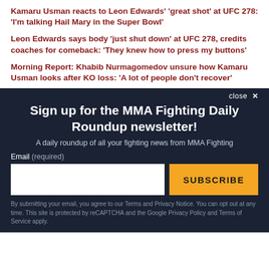Kamaru Usman reacts to Leon Edwards' 'great shot' at UFC 278: 'I'm talking Hail Mary in the Super Bowl'
Leon Edwards says body 'just shut down' at UFC 278, credits coaches for comeback: 'They knew how to press my buttons'
Morning Report: Khabib Nurmagomedov unsure how Kamaru Usman looks after KO loss: 'A lot of people don't recover'
close ×
Sign up for the MMA Fighting Daily Roundup newsletter!
A daily roundup of all your fighting news from MMA Fighting
Email (required)
SUBSCRIBE
By submitting your email, you agree to our Terms and Privacy Notice. You can opt out at any time. This site is protected by reCAPTCHA and the Google Privacy Policy and Terms of Service apply.